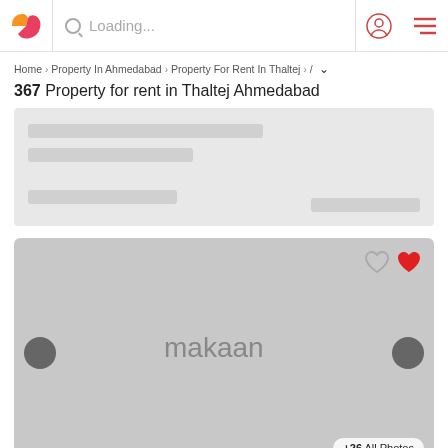Loading...
Home > Property In Ahmedabad > Property For Rent In Thaltej > /
367 Property for rent in Thaltej Ahmedabad
[Figure (screenshot): Loading card with grey placeholder bars]
[Figure (screenshot): Property listing image with makaan.com logo watermark, heart icons, navigation arrows, and +26 All Photos badge]